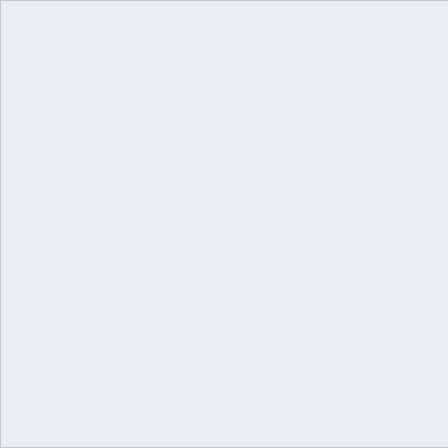[Figure (other): Light blue/lavender rectangular panel, left side of page]
June 2019
May 2019
April 2019
March 20...
February...
January...
December...
November...
October...
September...
August 2...
July 2018
June 2018
May 2018
April 2018
March 20...
February...
January...
December...
November...
October...
September...
August 2...
July 2017
June 2017
May 2017
April 2017
March 20...
February...
January...
December...
November...